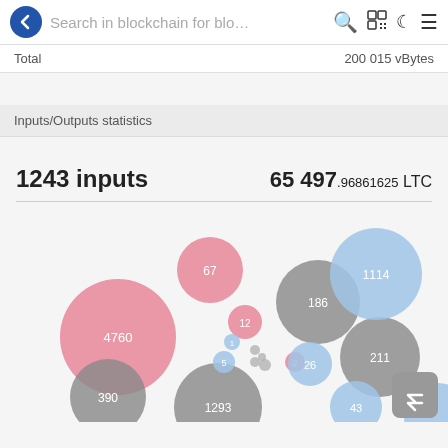Search in blockchain for blo…
Total   200 015 vBytes
Inputs/Outputs statistics
1243 inputs   65 497.96861625 LTC
[Figure (bubble-chart): Bubble chart showing transaction inputs/outputs statistics with labeled circles of varying sizes in pink, gray, and blue colors. Labeled bubbles: 67 (pink), 4760 (pink), 186 (gray), 1114 (blue), 12 (pink small), 1 (blue tiny), 5 (blue small), 26 (blue), 211 (gray), 390 (gray), 1293 (gray), 43 (blue), 2 (pink small)]